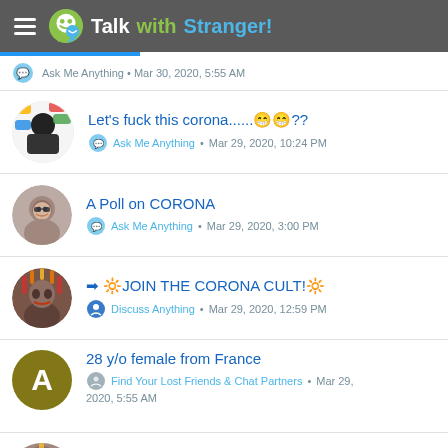TalkwithStranger!
Ask Me Anything • Mar 30, 2020, 5:55 AM
Let's fuck this corona......😁😁??
Ask Me Anything • Mar 29, 2020, 10:24 PM
A Poll on CORONA
Ask Me Anything • Mar 29, 2020, 3:00 PM
➡ 🔆JOIN THE CORONA CULT!🔆
Discuss Anything • Mar 29, 2020, 12:59 PM
28 y/o female from France
Find Your Lost Friends & Chat Partners • Mar 29, 2020, 5:55 AM
CORONA AND GOD FUNNY